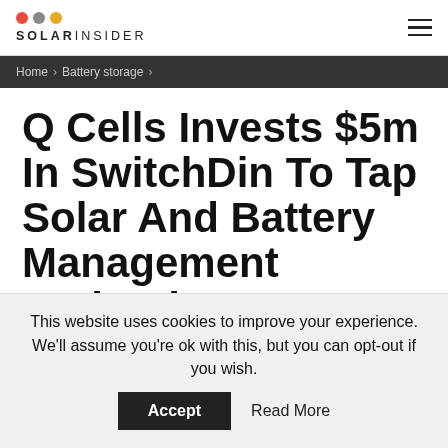SOLAR INSIDER
Home > Battery storage >
Q Cells Invests $5m In SwitchDin To Tap Solar And Battery Management Technology
This website uses cookies to improve your experience. We'll assume you're ok with this, but you can opt-out if you wish. Accept  Read More